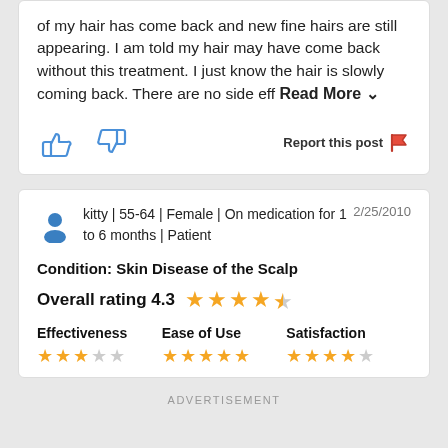of my hair has come back and new fine hairs are still appearing. I am told my hair may have come back without this treatment. I just know the hair is slowly coming back. There are no side eff Read More
Report this post
kitty | 55-64 | Female | On medication for 1 to 6 months | Patient
2/25/2010
Condition: Skin Disease of the Scalp
Overall rating 4.3 ★★★★½
Effectiveness ★★★☆☆ Ease of Use ★★★★★ Satisfaction ★★★★☆
ADVERTISEMENT